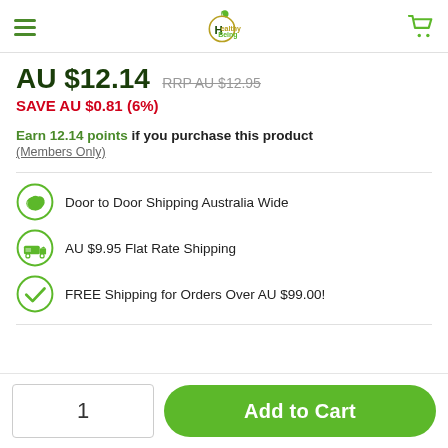[Figure (logo): Healthy Being logo with green apple and gold/green text]
AU $12.14  RRP AU $12.95
SAVE AU $0.81 (6%)
Earn 12.14 points if you purchase this product
(Members Only)
Door to Door Shipping Australia Wide
AU $9.95 Flat Rate Shipping
FREE Shipping for Orders Over AU $99.00!
1
Add to Cart